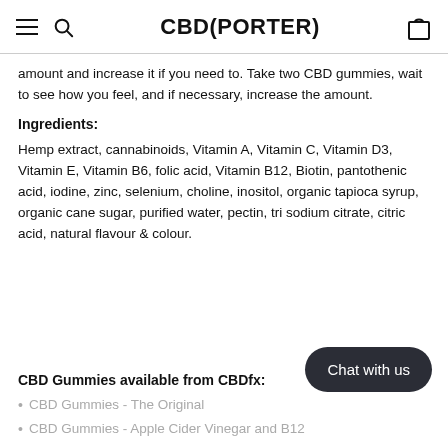CBD(PORTER)
amount and increase it if you need to. Take two CBD gummies, wait to see how you feel, and if necessary, increase the amount.
Ingredients:
Hemp extract, cannabinoids, Vitamin A, Vitamin C, Vitamin D3, Vitamin E, Vitamin B6, folic acid, Vitamin B12, Biotin, pantothenic acid, iodine, zinc, selenium, choline, inositol, organic tapioca syrup, organic cane sugar, purified water, pectin, tri sodium citrate, citric acid, natural flavour & colour.
CBD Gummies available from CBDfx:
CBD Gummies - The Original
CBD Gummies - Apple Cider Vinegar and B12